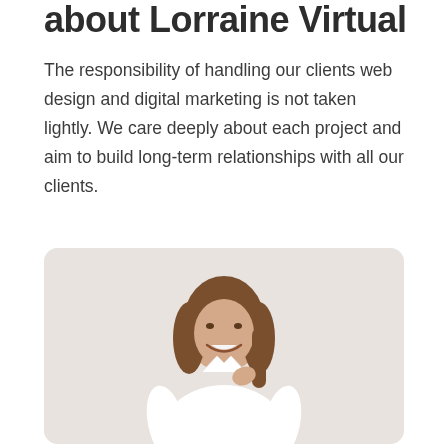about Lorraine Virtual
The responsibility of handling our clients web design and digital marketing is not taken lightly. We care deeply about each project and aim to build long-term relationships with all our clients.
[Figure (photo): A smiling woman with shoulder-length brown hair, wearing a white short-sleeve shirt, photographed against a light neutral background in a professional portrait style.]